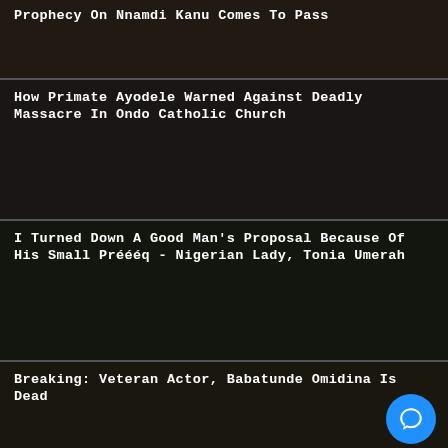Prophecy On Nnamdi Kanu Comes To Pass
How Primate Ayodele Warned Against Deadly Massacre In Ondo Catholic Church
I Turned Down A Good Man's Proposal Because Of His Small Préééq - Nigerian Lady, Tonia Umerah
Breaking: Veteran Actor, Babatunde Omidina Is Dead